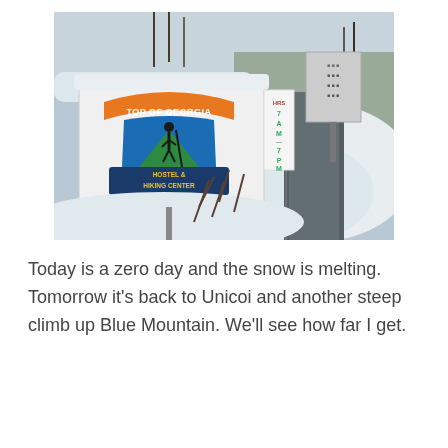[Figure (photo): A winter snow scene showing a sign for 'Top of Georgia Hostel & Hiking Center' partially buried in snow. The sign has a colorful logo with a hiker silhouette. Next to it, a large mound of snow covers the ground, with bare tree branches sticking out. A cleared road is visible in the background with snowy trees and hillside.]
Today is a zero day and the snow is melting.  Tomorrow it's back to Unicoi and another steep climb up Blue Mountain.  We'll see how far I get.